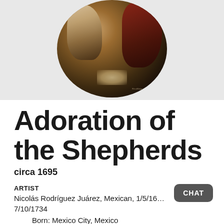[Figure (photo): Circular painting showing Adoration of the Shepherds, dark baroque style with figures and a luminous center, partially cut off at top]
Adoration of the Shepherds
circa 1695
ARTIST
Nicolás Rodríguez Juárez, Mexican, 1/5/16… 7/10/1734
Born: Mexico City, Mexico
COUNTRY